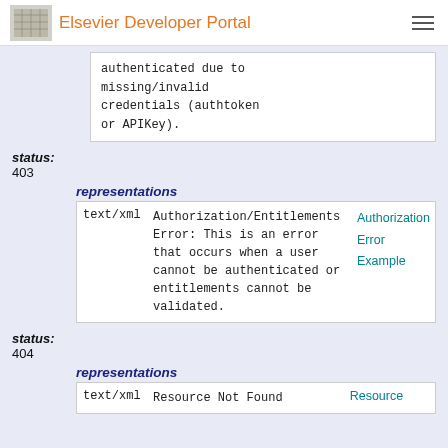Elsevier Developer Portal
authenticated due to missing/invalid credentials (authtoken or APIKey).
status:
403
representations
|  |  |  |
| --- | --- | --- |
| text/xml | Authorization/Entitlements Error: This is an error that occurs when a user cannot be authenticated or entitlements cannot be validated. | Authorization Error Example |
status:
404
representations
|  |  |  |
| --- | --- | --- |
| text/xml | Resource Not Found | Resource |